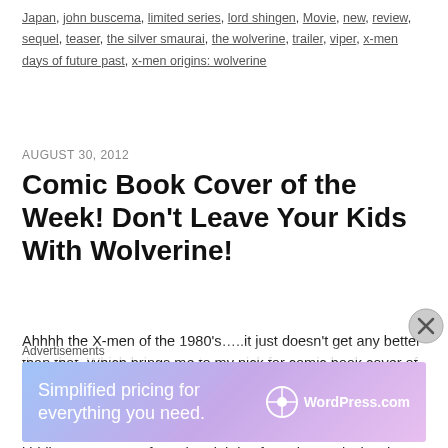Japan, john buscema, limited series, lord shingen, Movie, new, review, sequel, teaser, the silver smaurai, the wolverine, trailer, viper, x-men days of future past, x-men origins: wolverine
AUGUST 30, 2012
Comic Book Cover of the Week! Don't Leave Your Kids With Wolverine!
Ahhhh the X-men of the 1980's…..it just doesn't get any better than that. Which brings me to my pick for comic book cover of the week X-men #195 drawn by Bill Seinkeiwicz. Just knowing Bill did this cover is a no brainer that's it's gonna totally rule. This issue features the X-men trying to save Power Pack the kiddie mutant team from the eighties from the Morlocks, the inner art of the issue is drawn by the fabulous John Romita Jr who was even more spectacular back in the 1985
Advertisements
[Figure (other): WordPress.com advertisement banner: 'Simplified pricing for everything you need.' with WordPress.com logo]